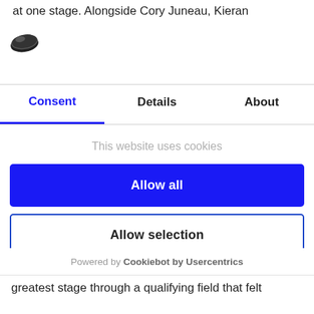at one stage. Alongside Cory Juneau, Kieran
[Figure (logo): Cookiebot logo — a dark oval cookie shape]
Consent | Details | About
This website uses cookies
Allow all
Allow selection
Deny
Powered by Cookiebot by Usercentrics
greatest stage through a qualifying field that felt